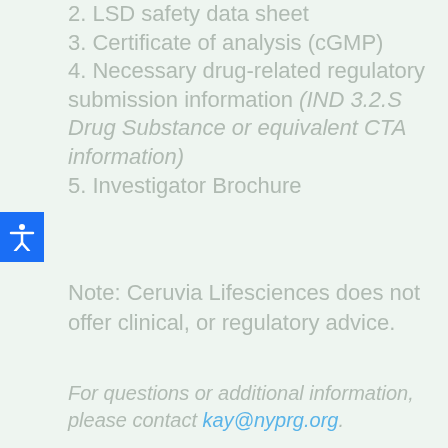2. LSD safety data sheet
3. Certificate of analysis (cGMP)
4. Necessary drug-related regulatory submission information (IND 3.2.S Drug Substance or equivalent CTA information)
5. Investigator Brochure
Note: Ceruvia Lifesciences does not offer clinical, or regulatory advice.
For questions or additional information, please contact kay@nyprg.org.